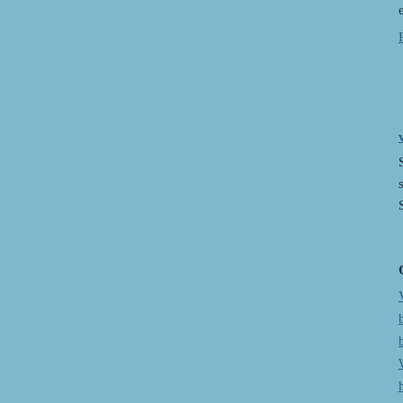experience and knowledge, he can e
Reply to comment
vashikaran specialist in Punjab o
Sameer is the famous astrologer in t services make most of the people to Solve Your All Life's Problem In Fe
Our Service
Vashikaran Specialist vashikaran sp
black magic specialist
black magic specialist in World
Who Is The Best Astrologer Near M
husband vashikaran specialist
best vashikaran specialist in punjab
vashikaran near me
astrologers near me
how to do black magic in tamil
remove vashikaran
black magic in tamil
family problem solution astrologer
business problem solution astrologe
famous jyotish near me
vashikaran specialist in america
vashikaran removal
black magic expert astrologer
vashikaran in delhi
marriage life problem solution astro